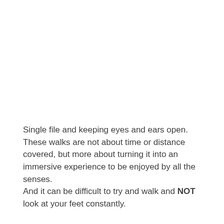Single file and keeping eyes and ears open. These walks are not about time or distance covered, but more about turning it into an immersive experience to be enjoyed by all the senses.
And it can be difficult to try and walk and NOT look at your feet constantly.